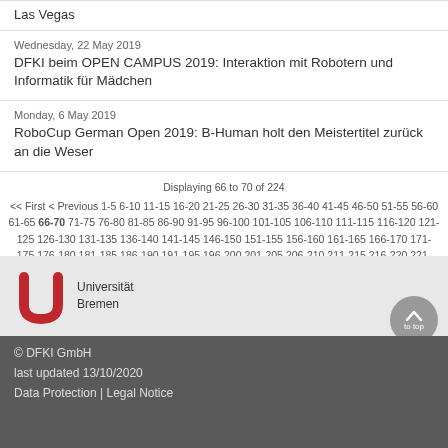Las Vegas
Wednesday, 22 May 2019
DFKI beim OPEN CAMPUS 2019: Interaktion mit Robotern und Informatik für Mädchen
Monday, 6 May 2019
RoboCup German Open 2019: B-Human holt den Meistertitel zurück an die Weser
Displaying 66 to 70 of 224  << First < Previous 1-5 6-10 11-15 16-20 21-25 26-30 31-35 36-40 41-45 46-50 51-55 56-60 61-65 66-70 71-75 76-80 81-85 86-90 91-95 96-100 101-105 106-110 111-115 116-120 121-125 126-130 131-135 136-140 141-145 146-150 151-155 156-160 161-165 166-170 171-175 176-180 181-185 186-190 191-195 196-200 201-205 206-210 211-215 216-220 221-224 Next > Last >>
[Figure (logo): Universität Bremen logo with red U-shape icon and text]
© DFKI GmbH
last updated 13/10/2020
Data Protection | Legal Notice